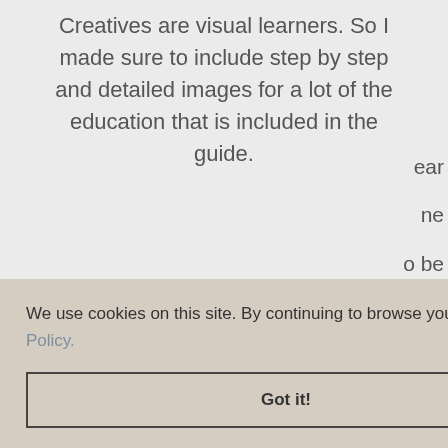Creatives are visual learners. So I made sure to include step by step and detailed images for a lot of the education that is included in the guide.
[Figure (illustration): Film/video icon — a dark gray film strip or clapperboard icon]
We use cookies on this site. By continuing to browse you agree to our Privacy Policy.
Got it!